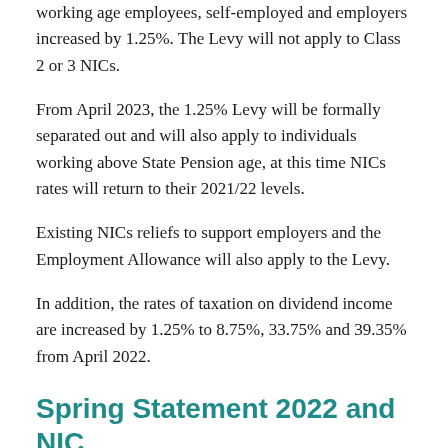working age employees, self-employed and employers increased by 1.25%. The Levy will not apply to Class 2 or 3 NICs.
From April 2023, the 1.25% Levy will be formally separated out and will also apply to individuals working above State Pension age, at this time NICs rates will return to their 2021/22 levels.
Existing NICs reliefs to support employers and the Employment Allowance will also apply to the Levy.
In addition, the rates of taxation on dividend income are increased by 1.25% to 8.75%, 33.75% and 39.35% from April 2022.
Spring Statement 2022 and NIC